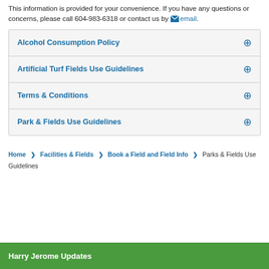This information is provided for your convenience. If you have any questions or concerns, please call 604-983-6318 or contact us by email.
Alcohol Consumption Policy
Artificial Turf Fields Use Guidelines
Terms & Conditions
Park & Fields Use Guidelines
Home > Facilities & Fields > Book a Field and Field Info > Parks & Fields Use Guidelines
Harry Jerome Updates